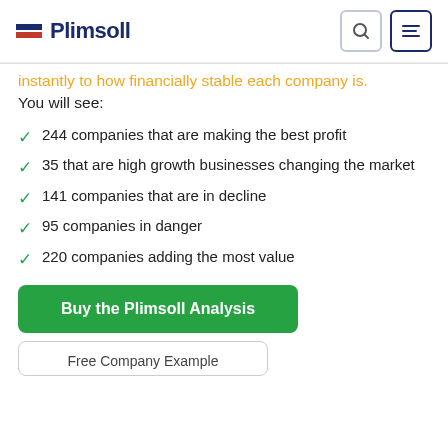Plimsoll
instantly to how financially stable each company is. You will see:
244 companies that are making the best profit
35 that are high growth businesses changing the market
141 companies that are in decline
95 companies in danger
220 companies adding the most value
Buy the Plimsoll Analysis
Free Company Example